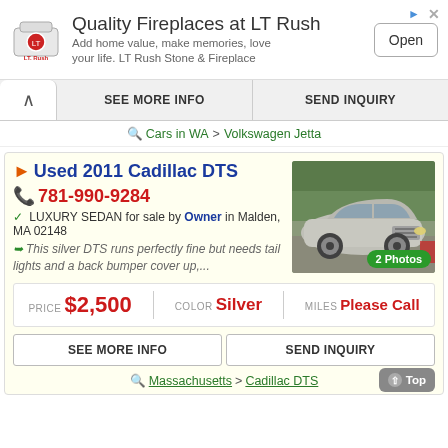[Figure (infographic): LT Rush advertisement banner with logo, title 'Quality Fireplaces at LT Rush', subtitle text, and Open button]
SEE MORE INFO  SEND INQUIRY
Cars in WA > Volkswagen Jetta
Used 2011 Cadillac DTS
781-990-9284
LUXURY SEDAN for sale by Owner in Malden, MA 02148
This silver DTS runs perfectly fine but needs tail lights and a back bumper cover up,...
[Figure (photo): Photo of a silver 2011 Cadillac DTS, front/side view. Badge shows '2 Photos'.]
PRICE $2,500   COLOR Silver   MILES Please Call
SEE MORE INFO  SEND INQUIRY
Massachusetts > Cadillac DTS